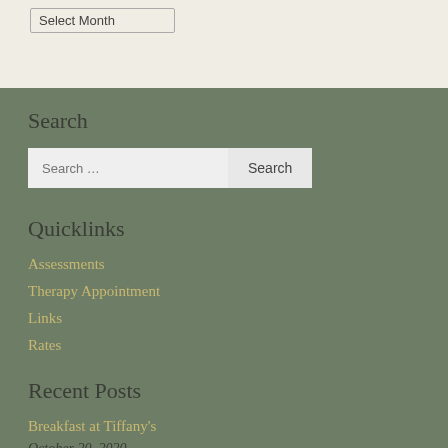Select Month
Search
Search …
Quicklinks
Assessments
Therapy Appointment
Links
Rates
Recent Posts
Breakfast at Tiffany's
October 20, 2020